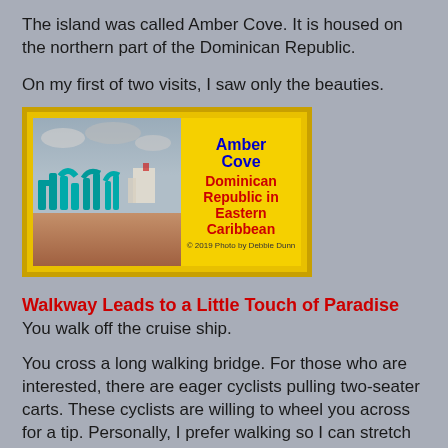The island was called Amber Cove. It is housed on the northern part of the Dominican Republic.
On my first of two visits, I saw only the beauties.
[Figure (photo): Photo card with yellow border showing Amber Cove sign sculptures with text: Amber Cove Dominican Republic in Eastern Caribbean. © 2019 Photo by Debbie Dunn]
Walkway Leads to a Little Touch of Paradise
You walk off the cruise ship.
You cross a long walking bridge. For those who are interested, there are eager cyclists pulling two-seater carts. These cyclists are willing to wheel you across for a tip. Personally, I prefer walking so I can stretch my legs and fully